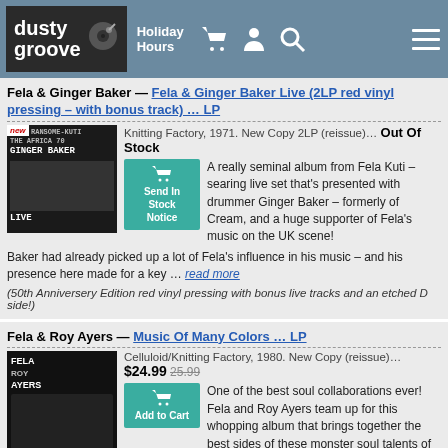dusty groove — Holiday Hours — navigation icons
Fela & Ginger Baker — Fela & Ginger Baker Live (2LP red vinyl pressing – with bonus track) ... LP
Knitting Factory, 1971. New Copy 2LP (reissue)... Out Of Stock
A really seminal album from Fela Kuti – searing live set that's presented with drummer Ginger Baker – formerly of Cream, and a huge supporter of Fela's music on the UK scene! Baker had already picked up a lot of Fela's influence in his music – and his presence here made for a key ... read more
(50th Anniversery Edition red vinyl pressing with bonus live tracks and an etched D side!)
Fela & Roy Ayers — Music Of Many Colors ... LP
Celluloid/Knitting Factory, 1980. New Copy (reissue)... $24.99  25.99
One of the best soul collaborations ever! Fela and Roy Ayers team up for this whopping album that brings together the best sides of these monster soul talents of the 70s! In keeping with Fela's work, the tracks are long and Afro-tinged, with a complicated groove that grows over the length of the ... read more
Fela & Africa 70 — Coffin For Head Of State ... LP
$24.99